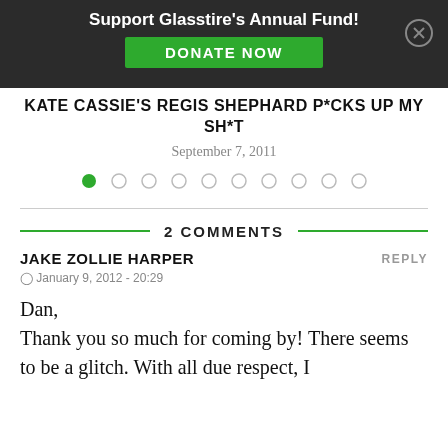Support Glasstire's Annual Fund! DONATE NOW
KATE CASSIE'S REGIS SHEPHARD P*CKED UP MY SH*T
September 7, 2011
2 COMMENTS
JAKE ZOLLIE HARPER
January 9, 2012 - 20:29
Dan,
Thank you so much for coming by! There seems to be a glitch. With all due respect, I